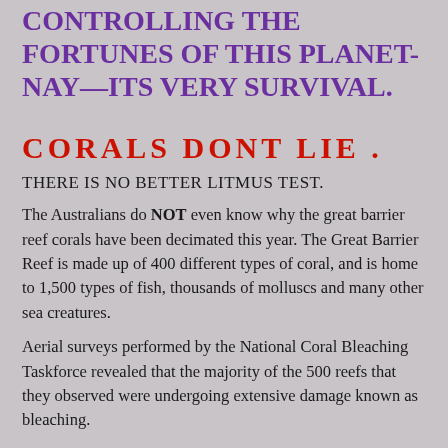CONTROLLING THE FORTUNES OF THIS PLANET- NAY—ITS VERY SURVIVAL.
CORALS  DONT  LIE .
THERE IS NO BETTER LITMUS TEST.
The Australians do NOT even know why the great barrier reef corals have been decimated this year. The Great Barrier Reef is made up of 400 different types of coral, and is home to 1,500 types of fish, thousands of molluscs and many other sea creatures.
Aerial surveys performed by the National Coral Bleaching Taskforce revealed that the majority of the 500 reefs that they observed were undergoing extensive damage known as bleaching.